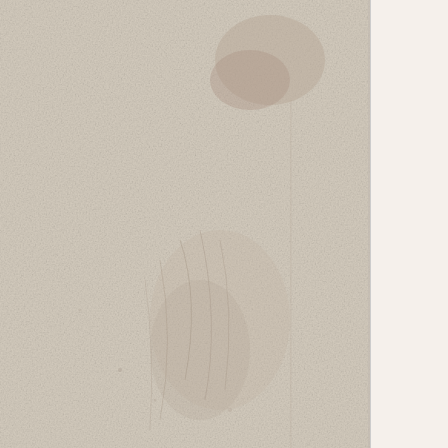[Figure (photo): Abstract pale textured background resembling aged paper or concrete with a faint handprint/leaf impression visible in the center-left area. The image occupies the left three-quarters of the page.]
Muse: Evidence Of Heaven 2LP
#4 Alio Die / Dirk Serries: The chapters of the eclipse
#5 Various Artists: Excelsis ~ a dark noel LP
Recent Products
[Figure (photo): Small product image showing a dark book or album cover, partially visible at bottom right corner]
Bla
Tap
For
A